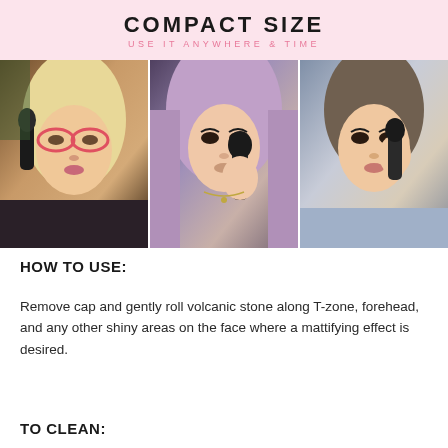[Figure (photo): Pink banner with 'COMPACT SIZE / USE IT ANYWHERE & TIME' text above a strip of three photos showing women applying makeup with a compact brush/volcanic stone roller tool.]
HOW TO USE:
Remove cap and gently roll volcanic stone along T-zone, forehead, and any other shiny areas on the face where a mattifying effect is desired.
TO CLEAN: